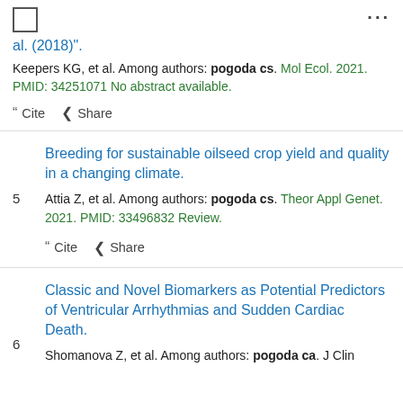[Figure (other): Checkbox and ellipsis menu icon at top of page]
al. (2018)".
Keepers KG, et al. Among authors: pogoda cs. Mol Ecol. 2021. PMID: 34251071 No abstract available.
" Cite < Share
Breeding for sustainable oilseed crop yield and quality in a changing climate.
Attia Z, et al. Among authors: pogoda cs. Theor Appl Genet. 2021. PMID: 33496832 Review.
" Cite < Share
Classic and Novel Biomarkers as Potential Predictors of Ventricular Arrhythmias and Sudden Cardiac Death.
Shomanova Z, et al. Among authors: pogoda ca. J Clin